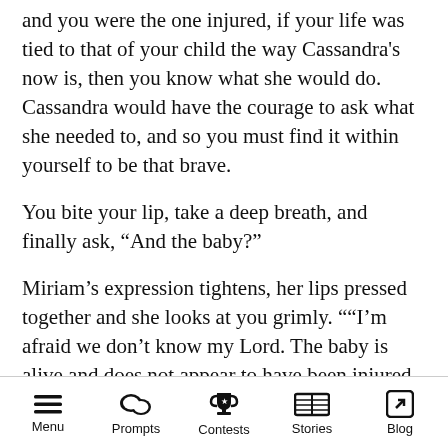and you were the one injured, if your life was tied to that of your child the way Cassandra's now is, then you know what she would do. Cassandra would have the courage to ask what she needed to, and so you must find it within yourself to be that brave.
You bite your lip, take a deep breath, and finally ask, “And the baby?”
Miriam’s expression tightens, her lips pressed together and she looks at you grimly. ““I’m afraid we don’t know my Lord. The baby is alive and does not appear to have been injured, But we won’t know for sure until he has been born. As
Menu  Prompts  Contests  Stories  Blog